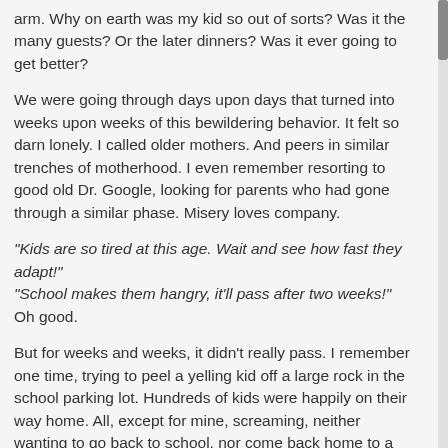arm. Why on earth was my kid so out of sorts? Was it the many guests? Or the later dinners? Was it ever going to get better?
We were going through days upon days that turned into weeks upon weeks of this bewildering behavior. It felt so darn lonely. I called older mothers. And peers in similar trenches of motherhood. I even remember resorting to good old Dr. Google, looking for parents who had gone through a similar phase. Misery loves company.
"Kids are so tired at this age. Wait and see how fast they adapt!"
"School makes them hangry, it'll pass after two weeks!"
Oh good.
But for weeks and weeks, it didn't really pass. I remember one time, trying to peel a yelling kid off a large rock in the school parking lot. Hundreds of kids were happily on their way home. All, except for mine, screaming, neither wanting to go back to school, nor come back home to a loving family. What was wrong with my child?